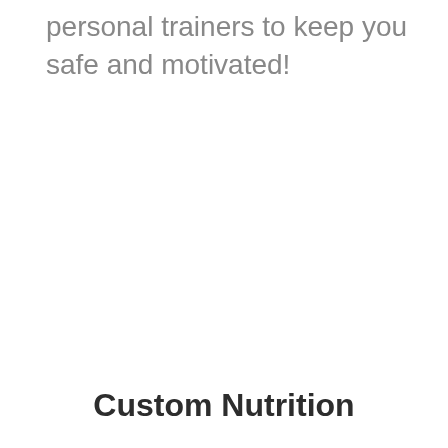personal trainers to keep you safe and motivated!
Custom Nutrition